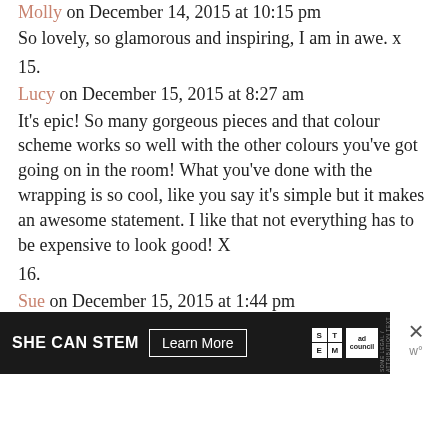Molly on December 14, 2015 at 10:15 pm
So lovely, so glamorous and inspiring, I am in awe. x
15.
Lucy on December 15, 2015 at 8:27 am
It's epic! So many gorgeous pieces and that colour scheme works so well with the other colours you've got going on in the room! What you've done with the wrapping is so cool, like you say it's simple but it makes an awesome statement. I like that not everything has to be expensive to look good! X
16.
Sue on December 15, 2015 at 1:44 pm
So cocktails at yours yes?! Gorgeous as
[Figure (screenshot): Ad banner: black background with 'SHE CAN STEM' text, 'Learn More' button, STEM and Ad Council logos, and a close X button]